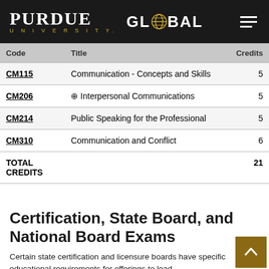Purdue University Global
| Code | Title | Credits |
| --- | --- | --- |
| CM115 | Communication - Concepts and Skills | 5 |
| CM206 | ⊕ Interpersonal Communications | 5 |
| CM214 | Public Speaking for the Professional | 5 |
| CM310 | Communication and Conflict | 6 |
| TOTAL CREDITS |  | 21 |
Certification, State Board, and National Board Exams
Certain state certification and licensure boards have specific educational requirements for offerings to lead...